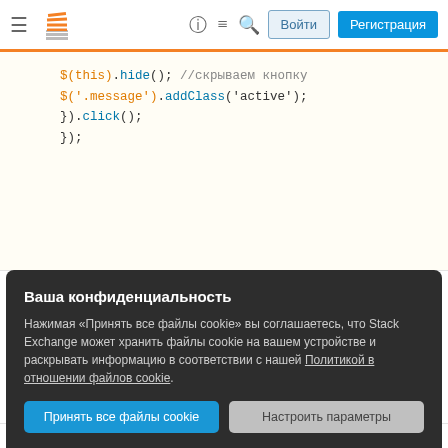Stack Overflow — Войти | Регистрация
[Figure (screenshot): Code snippet showing jQuery JavaScript: $(this).hide(); //скрываем кнопку  $('.message').addClass('active');  }).click();  });]
[Figure (screenshot): CSS code block: .click { display: block; height: 80px; width: 300px; position: absolute; background: #260016; }]
Ваша конфиденциальность
Нажимая «Принять все файлы cookie» вы соглашаетесь, что Stack Exchange может хранить файлы cookie на вашем устройстве и раскрывать информацию в соответствии с нашей Политикой в отношении файлов cookie.
Принять все файлы cookie | Настроить параметры
[Figure (screenshot): CSS code bottom: padding: 60px;]